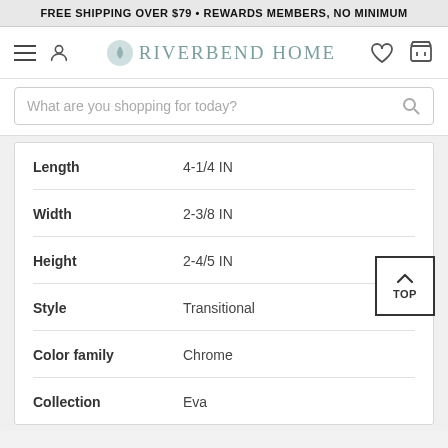FREE SHIPPING OVER $79 • REWARDS MEMBERS, NO MINIMUM
[Figure (logo): Riverbend Home logo with navigation icons: hamburger menu, user account, heart/wishlist, shopping cart]
What are you shopping for today?
| Attribute | Value |
| --- | --- |
| Length | 4-1/4 IN |
| Width | 2-3/8 IN |
| Height | 2-4/5 IN |
| Style | Transitional |
| Color family | Chrome |
| Collection | Eva |